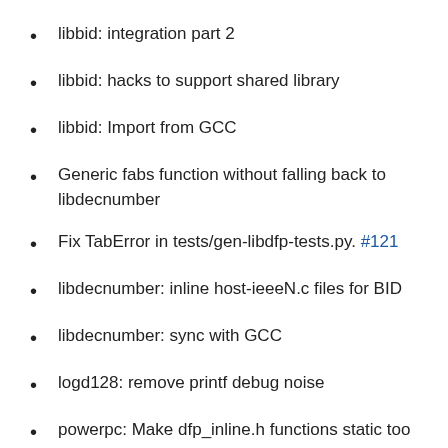libbid: integration part 2
libbid: hacks to support shared library
libbid: Import from GCC
Generic fabs function without falling back to libdecnumber
Fix TabError in tests/gen-libdfp-tests.py. #121
libdecnumber: inline host-ieeeN.c files for BID
libdecnumber: sync with GCC
logd128: remove printf debug noise
powerpc: Make dfp_inline.h functions static too
powd64: cleanup with 'indent'
Fix inline round/restore macro